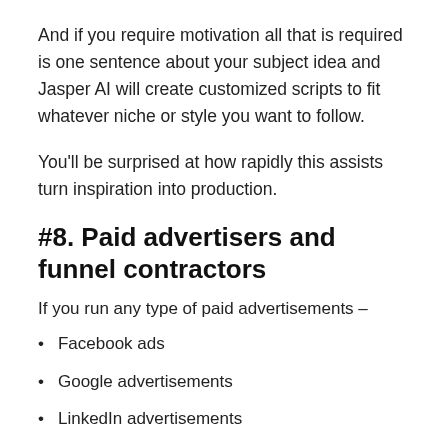And if you require motivation all that is required is one sentence about your subject idea and Jasper AI will create customized scripts to fit whatever niche or style you want to follow.
You'll be surprised at how rapidly this assists turn inspiration into production.
#8. Paid advertisers and funnel contractors
If you run any type of paid advertisements –
Facebook ads
Google advertisements
LinkedIn advertisements